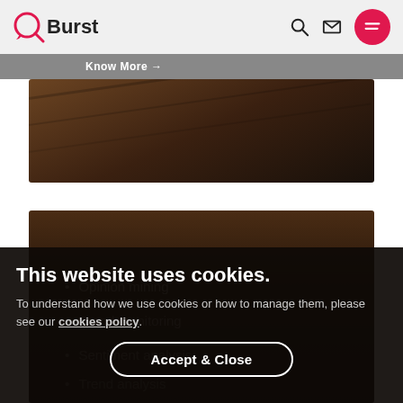QBurst
Know More →
[Figure (photo): Dark brown wooden surface, top image area]
[Figure (photo): Dark background image area with list items: Opinion mining, Brand monitoring, Sentiment analysis, Trend analysis]
Opinion mining
Brand monitoring
Sentiment analysis
Trend analysis
This website uses cookies.
To understand how we use cookies or how to manage them, please see our cookies policy.
Accept & Close